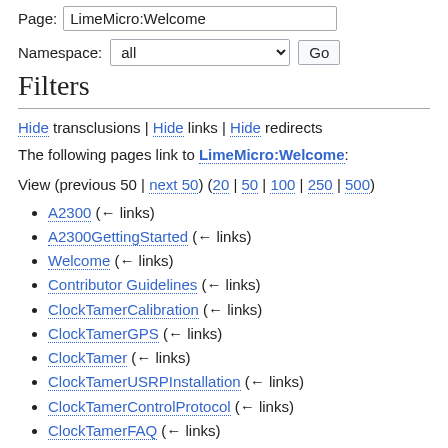Page: LimeMicro:Welcome
Namespace: all  Go
Filters
Hide transclusions | Hide links | Hide redirects
The following pages link to LimeMicro:Welcome:
View (previous 50 | next 50) (20 | 50 | 100 | 250 | 500)
A2300  (← links)
A2300GettingStarted  (← links)
Welcome  (← links)
Contributor Guidelines  (← links)
ClockTamerCalibration  (← links)
ClockTamerGPS  (← links)
ClockTamer  (← links)
ClockTamerUSRPInstallation  (← links)
ClockTamerControlProtocol  (← links)
ClockTamerFAQ  (← links)
ClockTamerFeaturesAndTechnicalSpecification  (←